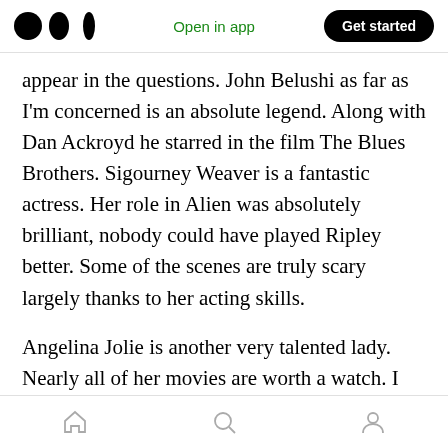Medium logo | Open in app | Get started
appear in the questions. John Belushi as far as I'm concerned is an absolute legend. Along with Dan Ackroyd he starred in the film The Blues Brothers. Sigourney Weaver is a fantastic actress. Her role in Alien was absolutely brilliant, nobody could have played Ripley better. Some of the scenes are truly scary largely thanks to her acting skills.
Angelina Jolie is another very talented lady. Nearly all of her movies are worth a watch. I highly recommend watching the film title Salt. It
Home | Search | Profile